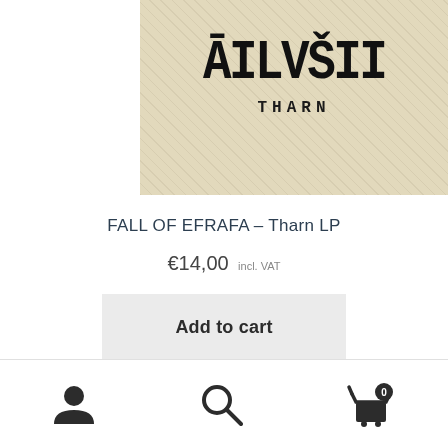[Figure (photo): Album artwork for Fall of Efrafa Tharn LP — aged parchment/cream background with dark stylized gothic logo text and 'THARN' lettering below]
FALL OF EFRAFA – Tharn LP
€14,00 incl. VAT
Add to cart
[Figure (photo): Partial album artwork for Fall of Efrafa - The Burial, showing text 'FALL OF EFRAFA' and 'THE BURIAL' on aged parchment with ornate dark emblem/crest in the center]
Navigation bar with user account icon, search icon, and cart icon showing 0 items